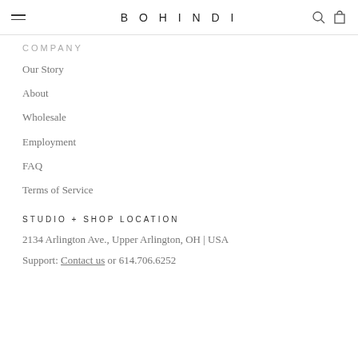BOHINDI
COMPANY
Our Story
About
Wholesale
Employment
FAQ
Terms of Service
STUDIO + SHOP LOCATION
2134 Arlington Ave., Upper Arlington, OH | USA
Support: Contact us or 614.706.6252